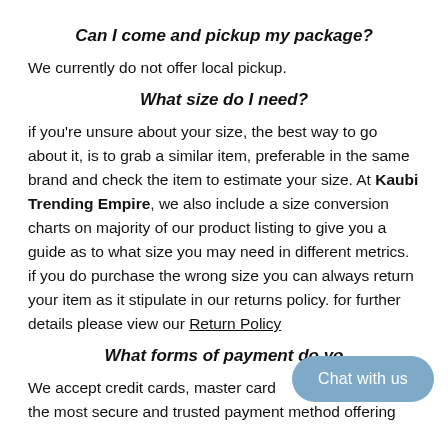Can I come and pickup my package?
We currently do not offer local pickup.
What size do I need?
if you're unsure about your size, the best way to go about it, is to grab a similar item, preferable in the same brand and check the item to estimate your size. At Kaubi Trending Empire, we also include a size conversion charts on majority of our product listing to give you a guide as to what size you may need in different metrics. if you do purchase the wrong size you can always return your item as it stipulate in our returns policy. for further details please view our Return Policy
What forms of payment do yo...
We accept credit cards, master card... is the most secure and trusted payment method offering